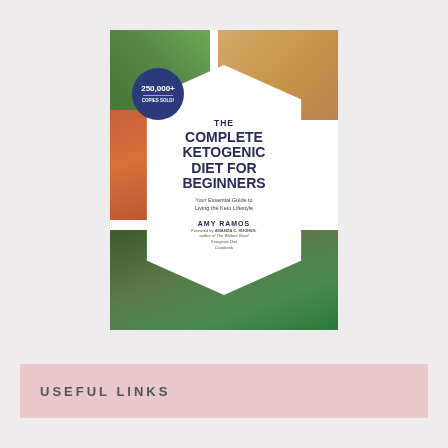[Figure (illustration): Book cover of 'The Complete Ketogenic Diet for Beginners' by Amy Ramos. The cover features food photography (eggs, salmon, asparagus, avocado, steak with herbs) arranged around a white hexagonal center. A dark blue circular badge reads '250,000+ Copies Sold!' The title is in bold dark blue text. Subtitle: 'Your Essential Guide to Living the Keto Lifestyle'. Foreword by Amanda C. Hughes, author of The Wicked Good Ketogenic Diet Cookbook.]
USEFUL LINKS